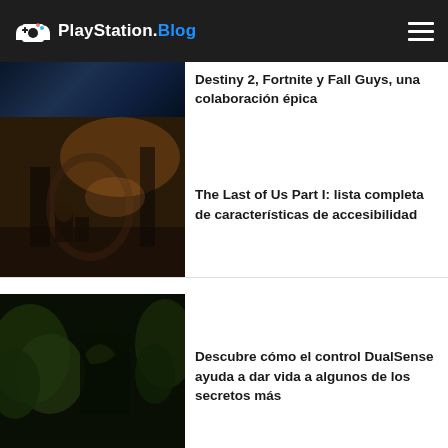PlayStation.Blog
[Figure (screenshot): Partial blue-tinted game screenshot (cropped at top)]
Destiny 2, Fortnite y Fall Guys, una colaboración épica
[Figure (screenshot): The Last of Us Part I game scene - dark industrial interior with characters]
The Last of Us Part I: lista completa de características de accesibilidad
[Figure (screenshot): Dark jungle/forest scene - partial, cropped at bottom]
Descubre cómo el control DualSense ayuda a dar vida a algunos de los secretos más